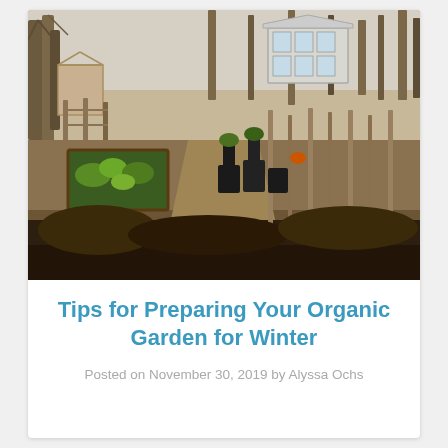[Figure (photo): An outdoor organic garden in winter preparation, showing raised beds, plant stakes, black pots with plants, bare trees in the background, and a greenhouse structure visible at the top center-right. The garden has a path running through it with various plants and garden equipment.]
Tips for Preparing Your Organic Garden for Winter
Posted on November 30, 2019 by Alyssa Ochs